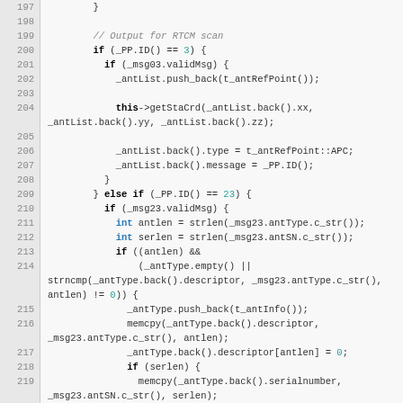Source code listing, lines 197-222, C++ RTCM scan output handler